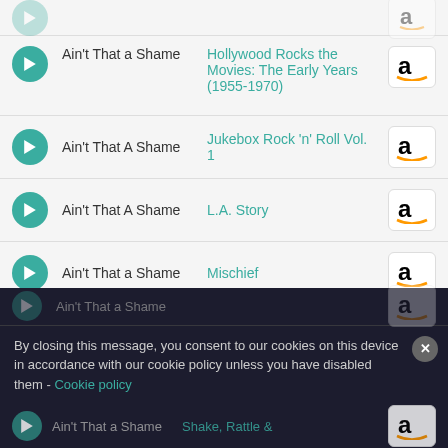Ain't That a Shame — Hollywood Rocks the Movies: The Early Years (1955-1970)
Ain't That A Shame — Jukebox Rock 'n' Roll Vol. 1
Ain't That A Shame — L.A. Story
Ain't That a Shame — Mischief
Ain't That a Shame — October Sky
By closing this message, you consent to our cookies on this device in accordance with our cookie policy unless you have disabled them - Cookie policy